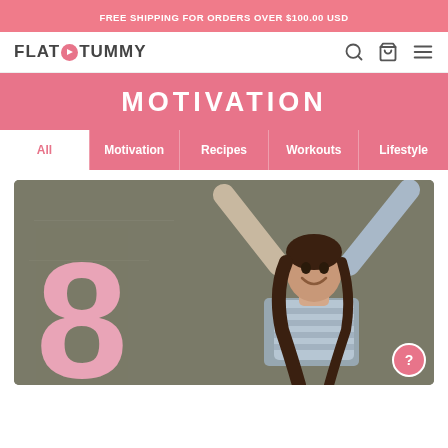FREE SHIPPING FOR ORDERS OVER $100.00 USD
[Figure (screenshot): Flat Tummy website header with logo, search icon, bag icon, and menu icon]
MOTIVATION
All | Motivation | Recipes | Workouts | Lifestyle
[Figure (photo): Woman with arms raised celebrating in front of a chalkboard with a large pink number 8]